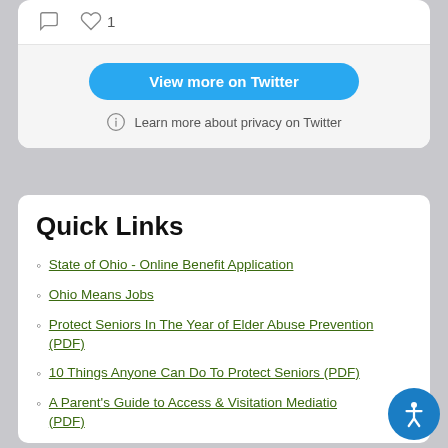[Figure (screenshot): Twitter widget bottom portion showing comment and heart icons (1 like), a blue 'View more on Twitter' button, and a privacy note. Grey background section.]
Quick Links
State of Ohio - Online Benefit Application
Ohio Means Jobs
Protect Seniors In The Year of Elder Abuse Prevention (PDF)
10 Things Anyone Can Do To Protect Seniors (PDF)
A Parent's Guide to Access & Visitation Mediation (PDF)